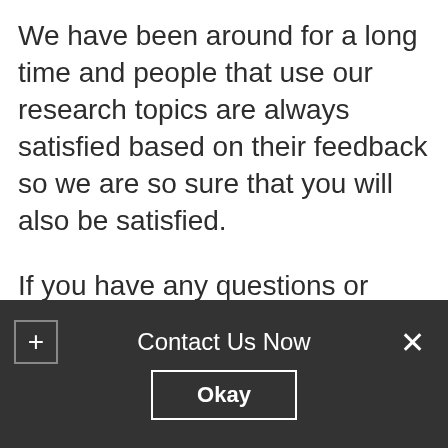We have been around for a long time and people that use our research topics are always satisfied based on their feedback so we are so sure that you will also be satisfied.
If you have any questions or suggestions you can send a mail to us or leave a comment on this page.
Contact Us Now  Okay